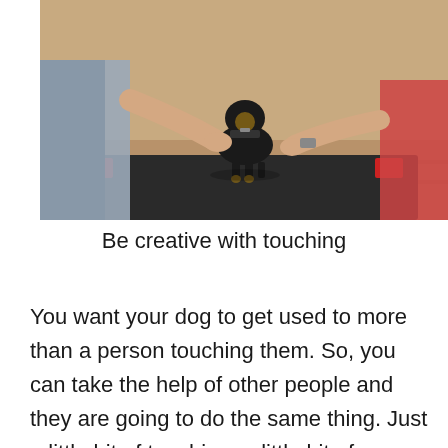[Figure (photo): A person kneeling and touching/handling a small black and tan dog (appears to be a puppy or small breed) on what looks like a training mat or platform with red accessories visible. The scene is in an indoor setting with a wooden floor visible in the background.]
Be creative with touching
You want your dog to get used to more than a person touching them. So, you can take the help of other people and they are going to do the same thing. Just a little bit of touching, a little bit of movement.